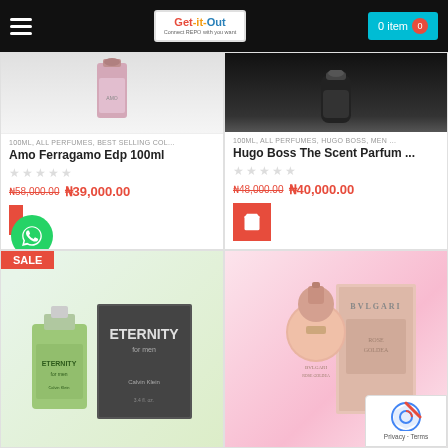Get-it-Out — 0 items
100ML, ALL PERFUMES, BEST SELLING COL...
Amo Ferragamo Edp 100ml
₦58,000.00  ₦39,000.00
100ML, ALL PERFUMES, HUGO BOSS, MEN ...
Hugo Boss The Scent Parfum ...
₦48,000.00  ₦40,000.00
[Figure (photo): Calvin Klein Eternity for Men perfume bottle and box]
[Figure (photo): Bvlgari Rose Goldea perfume bottle and box]